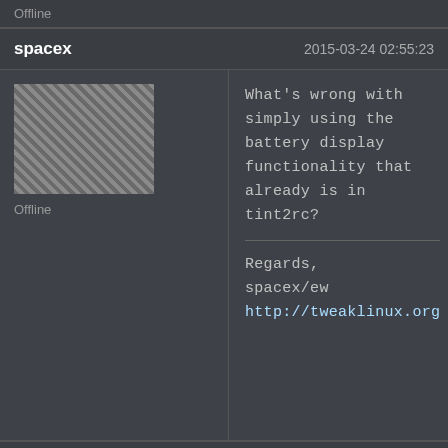Offline
spacex    2015-03-24 02:55:23
What's wrong with simply using the battery display functionality that already is in tint2rc?

Regards,
spacex/ew
http://tweaklinux.org
Offline
nore    2015-03-24 04:32:40
spacex wrote:
What's wrong with simply using the battery display functionality that already is in tint2rc?